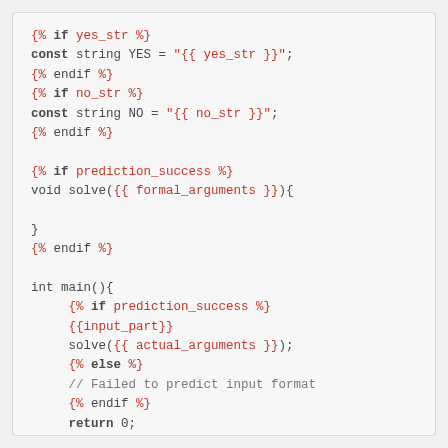{% if yes_str %}
const string YES = "{{ yes_str }}";
{% endif %}
{% if no_str %}
const string NO = "{{ no_str }}";
{% endif %}

{% if prediction_success %}
void solve({{ formal_arguments }}){

}
{% endif %}

int main(){
    {% if prediction_success %}
    {{input_part}}
    solve({{ actual_arguments }});
    {% else %}
    // Failed to predict input format
    {% endif %}
    return 0;
}